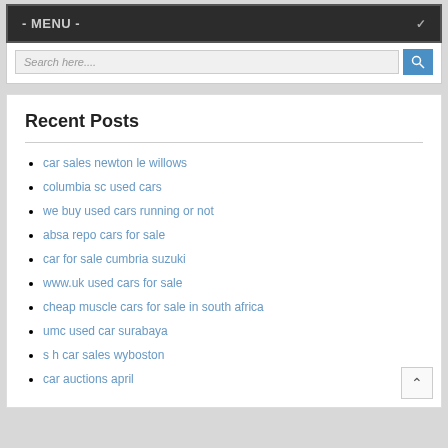- MENU -
Search here....
Recent Posts
car sales newton le willows
columbia sc used cars
we buy used cars running or not
absa repo cars for sale
car for sale cumbria suzuki
www.uk used cars for sale
cheap muscle cars for sale in south africa
umc used car surabaya
s h car sales wyboston
car auctions april